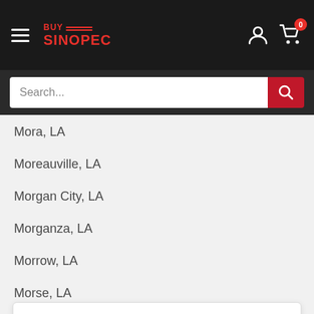[Figure (logo): BuySinopec logo with hamburger menu on dark header bar]
Search...
Mora, LA
Moreauville, LA
Morgan City, LA
Morganza, LA
Morrow, LA
Morse, LA
This website uses your unique browser information and device information through cookies, including third-party cookies, to guarantee you the best experience on our website.
Accept